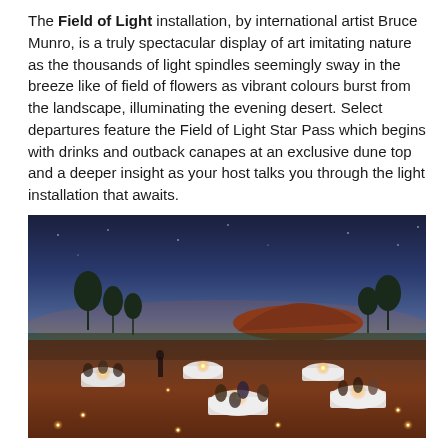The Field of Light installation, by international artist Bruce Munro, is a truly spectacular display of art imitating nature as the thousands of light spindles seemingly sway in the breeze like of field of flowers as vibrant colours burst from the landscape, illuminating the evening desert. Select departures feature the Field of Light Star Pass which begins with drinks and outback canapes at an exclusive dune top and a deeper insight as your host talks you through the light installation that awaits.
[Figure (photo): Outdoor dinner event at dusk with Uluru (Ayers Rock) visible in the background. Multiple round white-clothed tables with guests dining by candlelight on red desert earth, surrounded by small glowing lights on the ground. Trees and scrubland visible against a deep blue twilight sky.]